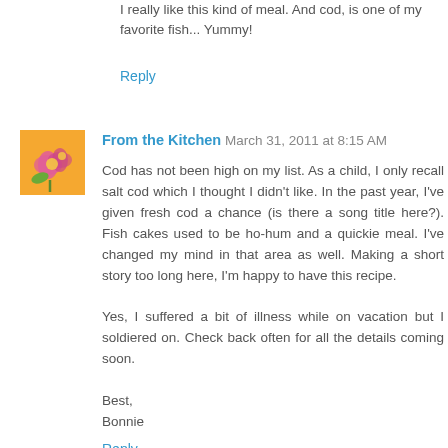I really like this kind of meal. And cod, is one of my favorite fish... Yummy!
Reply
From the Kitchen  March 31, 2011 at 8:15 AM
Cod has not been high on my list. As a child, I only recall salt cod which I thought I didn't like. In the past year, I've given fresh cod a chance (is there a song title here?). Fish cakes used to be ho-hum and a quickie meal. I've changed my mind in that area as well. Making a short story too long here, I'm happy to have this recipe.

Yes, I suffered a bit of illness while on vacation but I soldiered on. Check back often for all the details coming soon.

Best,
Bonnie
Reply